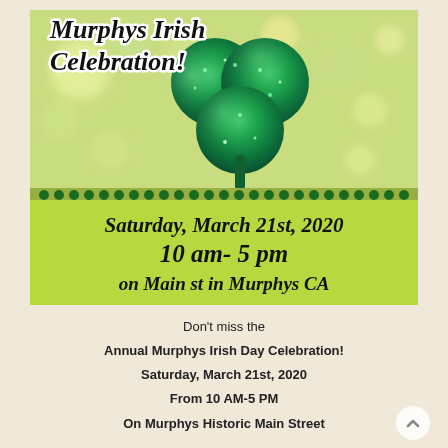[Figure (photo): Glittery teal/green shamrock on a bokeh background with yellow-green and gold lights, with overlay text reading 'Murphys Irish Celebration!' and a lime green banner at the bottom showing 'Saturday, March 21st, 2020 / 10 am- 5 pm / on Main st in Murphys CA']
Don't miss the
Annual Murphys Irish Day Celebration!
Saturday, March 21st, 2020
From 10 AM-5 PM
On Murphys Historic Main Street